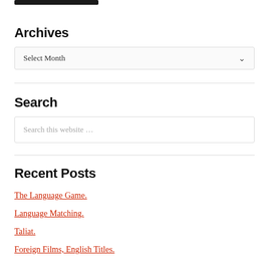[Figure (other): Black navigation bar element at top]
Archives
Select Month
Search
Search this website …
Recent Posts
The Language Game.
Language Matching.
Taliat.
Foreign Films, English Titles.